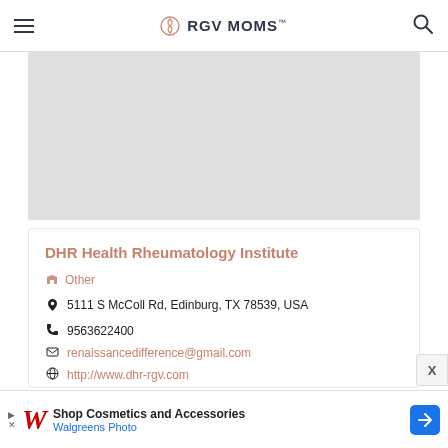RGV MOMS
[Figure (map): Google map placeholder showing location of DHR Health Rheumatology Institute]
DHR Health Rheumatology Institute
Other
5111 S McColl Rd, Edinburg, TX 78539, USA
9563622400
renaissancedifference@gmail.com
http://www.dhr-rgv.com
[Figure (other): Twitter and Facebook social icons]
Shop Cosmetics and Accessories Walgreens Photo